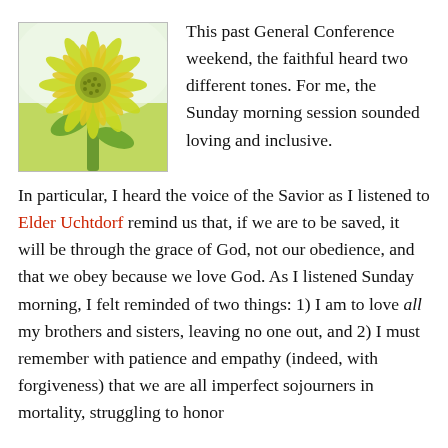[Figure (photo): Photo of a sunflower viewed from behind, with green petals and a bright yellow bloom, in a field with soft light background.]
This past General Conference weekend, the faithful heard two different tones. For me, the Sunday morning session sounded loving and inclusive. In particular, I heard the voice of the Savior as I listened to Elder Uchtdorf remind us that, if we are to be saved, it will be through the grace of God, not our obedience, and that we obey because we love God. As I listened Sunday morning, I felt reminded of two things: 1) I am to love all my brothers and sisters, leaving no one out, and 2) I must remember with patience and empathy (indeed, with forgiveness) that we are all imperfect sojourners in mortality, struggling to honor